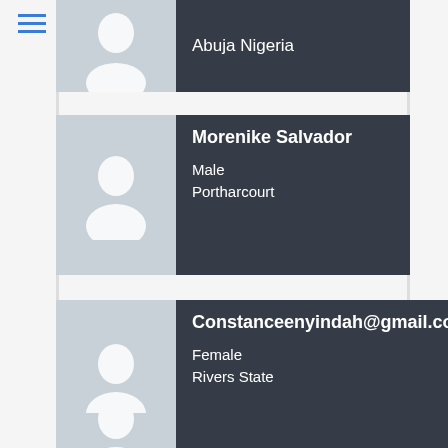[Figure (other): Hamburger menu icon with three blue horizontal lines]
[Figure (other): Profile card partially visible at top: Abuja Nigeria location, avatar silhouette]
Morenike Salvador
Male
Portharcourt
Constanceenyindah@gmail.com
Female
Rivers State
Uche Morgan Kachi